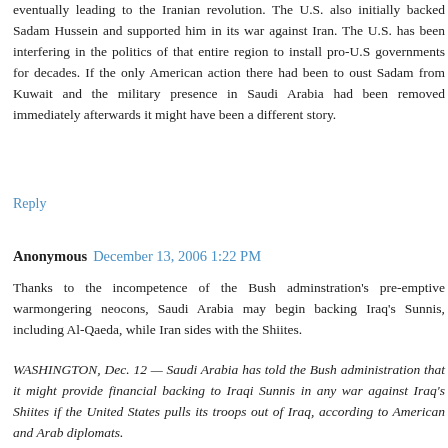eventually leading to the Iranian revolution. The U.S. also initially backed Sadam Hussein and supported him in its war against Iran. The U.S. has been interfering in the politics of that entire region to install pro-U.S governments for decades. If the only American action there had been to oust Sadam from Kuwait and the military presence in Saudi Arabia had been removed immediately afterwards it might have been a different story.
Reply
Anonymous December 13, 2006 1:22 PM
Thanks to the incompetence of the Bush adminstration's pre-emptive warmongering neocons, Saudi Arabia may begin backing Iraq's Sunnis, including Al-Qaeda, while Iran sides with the Shiites.
WASHINGTON, Dec. 12 — Saudi Arabia has told the Bush administration that it might provide financial backing to Iraqi Sunnis in any war against Iraq's Shiites if the United States pulls its troops out of Iraq, according to American and Arab diplomats.